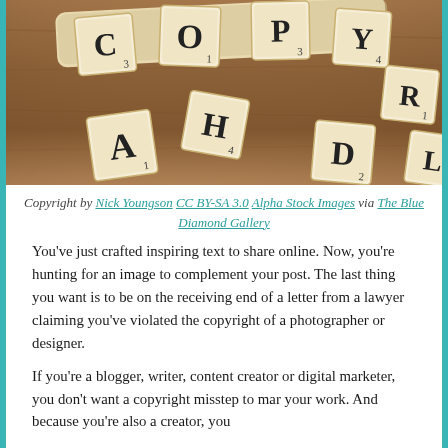[Figure (photo): Scrabble tiles scattered on a wooden surface, showing letters C, H, A, D, R and others]
Copyright by Nick Youngson CC BY-SA 3.0 Alpha Stock Images via The Blue Diamond Gallery
You’ve just crafted inspiring text to share online. Now, you’re hunting for an image to complement your post. The last thing you want is to be on the receiving end of a letter from a lawyer claiming you’ve violated the copyright of a photographer or designer.
If you’re a blogger, writer, content creator or digital marketer, you don’t want a copyright misstep to mar your work. And because you’re also a creator, you